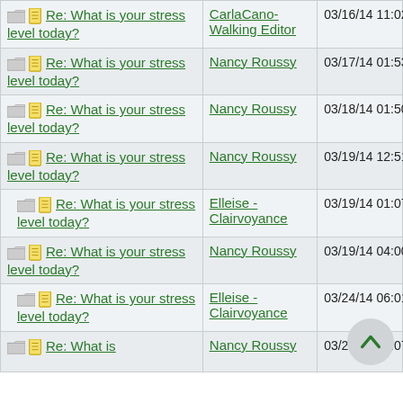| Subject | Author | Date |
| --- | --- | --- |
| Re: What is your stress level today? | CarlaCano-Walking Editor | 03/16/14 11:02 PM |
| Re: What is your stress level today? | Nancy Roussy | 03/17/14 01:53 AM |
| Re: What is your stress level today? | Nancy Roussy | 03/18/14 01:50 AM |
| Re: What is your stress level today? | Nancy Roussy | 03/19/14 12:51 AM |
| Re: What is your stress level today? | Elleise - Clairvoyance | 03/19/14 01:07 AM |
| Re: What is your stress level today? | Nancy Roussy | 03/19/14 04:00 PM |
| Re: What is your stress level today? | Elleise - Clairvoyance | 03/24/14 06:01 PM |
| Re: What is | Nancy Roussy | 03/20/14 02:07 AM |